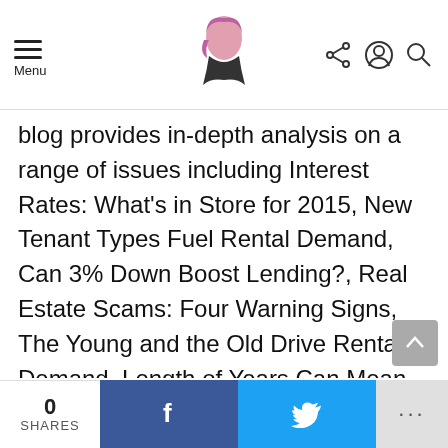Menu | [logo] | [share icon] [user icon] [search icon]
blog provides in-depth analysis on a range of issues including Interest Rates: What’s in Store for 2015, New Tenant Types Fuel Rental Demand, Can 3% Down Boost Lending?, Real Estate Scams: Four Warning Signs, The Young and the Old Drive Rental Demand, Length of Years Can Mean Loss of Money, Successful Investors Maintain Control, Homeownership Drops: Who’s Not Buying Houses?, New App Pays Your Rent – But Convenience Costs, Smart Financial Advice – For All of Us, Wise Landlords Think Like King Solomon, False Prophets = False
0 SHARES | f | [Twitter bird] | ...